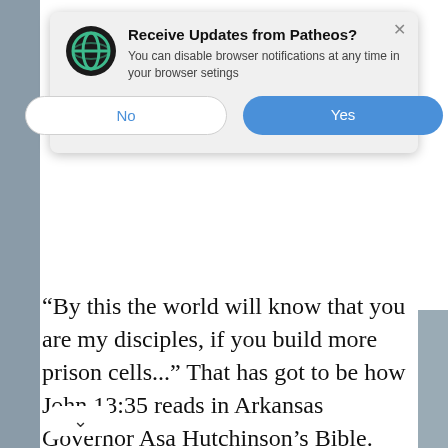[Figure (screenshot): Browser notification popup: 'Receive Updates from Patheos?' with No and Yes buttons, overlaying a webpage screenshot]
“By this the world will know that you are my disciples, if you build more prison cells...” That has got to be how John 13:35 reads in Arkansas Governor Asa Hutchinson’s Bible. That’s the only way I can think of that he could claim to be a follower of Jesus and ask legislature for upwards of a hundred